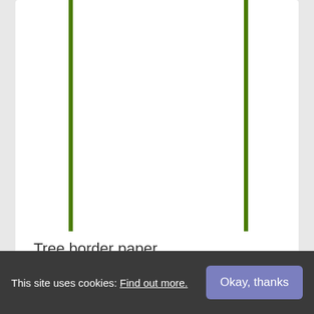[Figure (illustration): White card showing a decorative 'tree border paper' design with two vertical green lines forming a border frame, partially visible at top.]
Tree border paper
[Figure (illustration): Partial view of a card featuring 'The Very Hungry Caterpillar' with a light blue circle background, white circle, teal triangle shapes, green dots, and an orange fruit circle.]
This site uses cookies: Find out more.
Okay, thanks